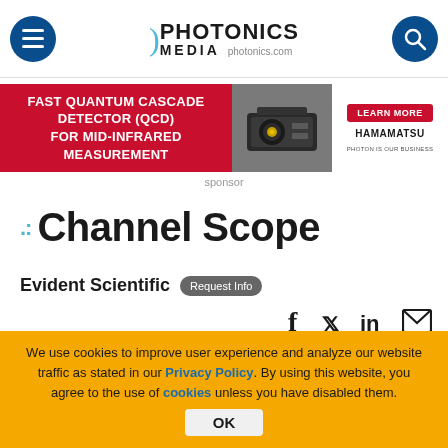Photonics Media — photonics.com
[Figure (infographic): Hamamatsu ad banner: Fast Quantum Cascade Detector (QCD) for mid-infrared measurement with device image and Learn More button]
sponsor
:: Channel Scope
Evident Scientific — Request Info
[Figure (infographic): Social share icons: Facebook, Twitter, LinkedIn, Email]
WALTHAM, Mass., May 20, 2020 — The IPLEX™ NX
We use cookies to improve user experience and analyze our website traffic as stated in our Privacy Policy. By using this website, you agree to the use of cookies unless you have disabled them.